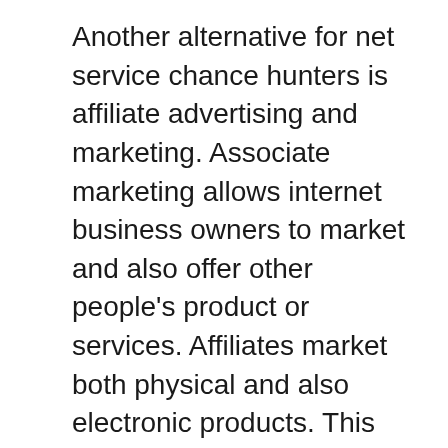Another alternative for net service chance hunters is affiliate advertising and marketing. Associate marketing allows internet business owners to market and also offer other people's product or services. Affiliates market both physical and also electronic products. This type of company opportunity is growing significantly with the use of the net by many web entrepreneur. There are dozens of well-established affiliate marketing programs available to business owners.
One last option for those seeking a service possibility for making money is by joining rip-offs that make you pay to acquire products and also details. This sort of business possibility is designed to cheat